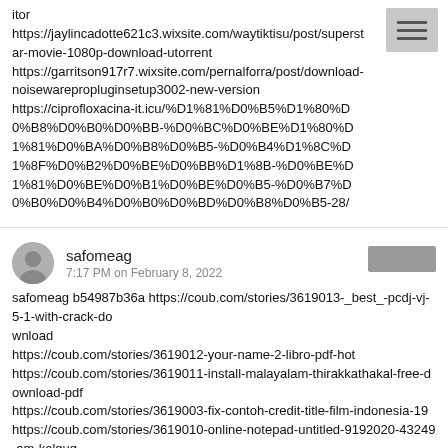itor
https://jaylincadotte621c3.wixsite.com/waytiktisu/post/superstar-movie-1080p-download-utorrent
https://garritson917r7.wixsite.com/pernalforra/post/download-noisewarepropluginsetup3002-new-version
https://ciprofloxacina-it.icu/%D1%81%D0%B5%D1%80%D0%B8%D0%B0%D0%BB-%D0%BC%D0%BE%D1%80%D1%81%D0%BA%D0%B8%D0%B5-%D0%B4%D1%8C%D1%8F%D0%B2%D0%BE%D0%BB%D1%8B-%D0%BE%D1%81%D0%BE%D0%B1%D0%BE%D0%B5-%D0%B7%D0%B0%D0%B4%D0%B0%D0%BD%D0%B8%D0%B5-28/
safomeag
7:17 PM on February 8, 2022
safomeag b54987b36a https://coub.com/stories/3619013-_best_-pcdj-vj-5-1-with-crack-do
wnload
https://coub.com/stories/3619012-your-name-2-libro-pdf-hot
https://coub.com/stories/3619011-install-malayalam-thirakkathakal-free-download-pdf
https://coub.com/stories/3619003-fix-contoh-credit-title-film-indonesia-19
https://coub.com/stories/3619010-online-notepad-untitled-9192020-43249-am-kalgug
https://coub.com/stories/3619009-lanterna-verde-2011-1080p-ac3-5-